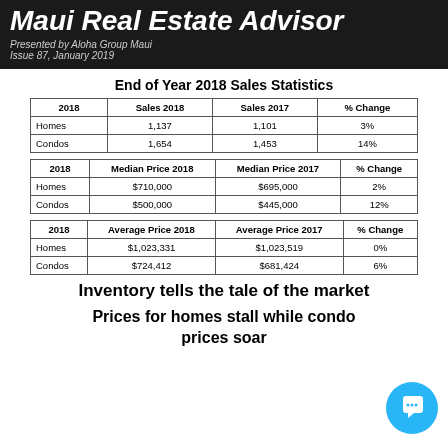Maui Real Estate Advisor
Presented by Aloha Group Maui
Issue 87, January 2019
End of Year 2018 Sales Statistics
| 2018 | Sales 2018 | Sales 2017 | % Change |
| --- | --- | --- | --- |
| Homes | 1,137 | 1,101 | 3% |
| Condos | 1,654 | 1,453 | 14% |
| 2018 | Median Price 2018 | Median Price 2017 | % Change |
| --- | --- | --- | --- |
| Homes | $710,000 | $695,000 | 2% |
| Condos | $500,000 | $445,000 | 12% |
| 2018 | Average Price 2018 | Average Price 2017 | % Change |
| --- | --- | --- | --- |
| Homes | $1,023,331 | $1,023,519 | 0% |
| Condos | $724,412 | $681,424 | 6% |
Inventory tells the tale of the market
Prices for homes stall while condo prices soar